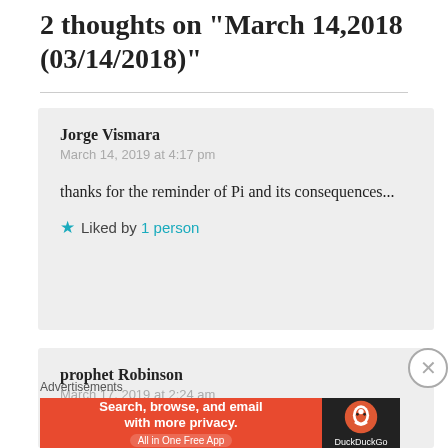2 thoughts on “March 14, 2018 (03/14/2018)”
Jorge Vismara
March 14, 2019 at 4:17 pm

thanks for the reminder of Pi and its consequences...

★ Liked by 1 person
prophet Robinson
March 17, 2019 at 2:24 am
Advertisements
[Figure (screenshot): DuckDuckGo advertisement banner reading 'Search, browse, and email with more privacy. All in One Free App' with DuckDuckGo logo on dark background]